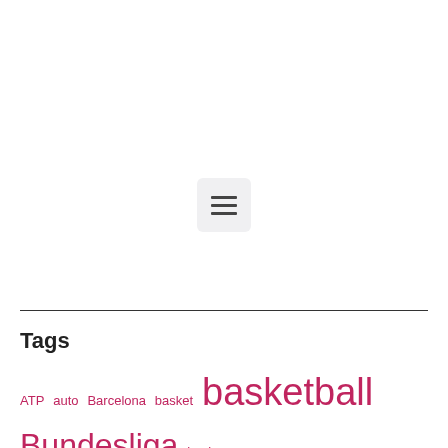[Figure (other): Hamburger menu icon on a light grey rounded rectangle background]
Tags
ATP auto Barcelona basket basketball Bundesliga business champions league copa